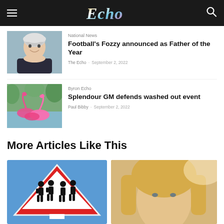Echo
National News
Football's Fozzy announced as Father of the Year
The Echo - September 2, 2022
Byron Echo
Splendour GM defends washed out event
Paul Bibby - September 2, 2022
More Articles Like This
[Figure (photo): A red triangular warning road sign with silhouettes of people (children crossing)]
[Figure (photo): Close-up of a blonde woman's face]